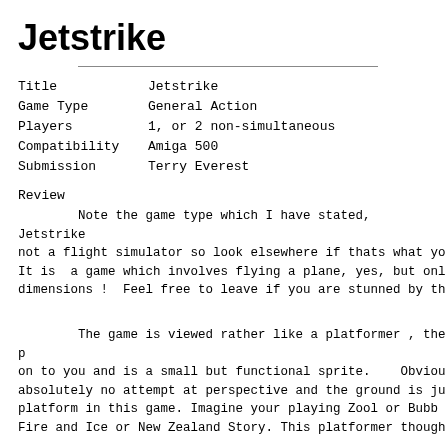Jetstrike
| Title | Jetstrike |
| Game Type | General Action |
| Players | 1, or 2 non-simultaneous |
| Compatibility | Amiga 500 |
| Submission | Terry Everest |
Review
Note the game type which I have stated,  Jetstrike is not a flight simulator so look elsewhere if thats what yo. It is  a game which involves flying a plane, yes, but onl dimensions !  Feel free to leave if you are stunned by th
The game is viewed rather like a platformer , the p on to you and is a small but functional sprite.    Obviou absolutely no attempt at perspective and the ground is ju platform in this game. Imagine your playing Zool or Bubb Fire and Ice or New Zealand Story. This platformer though
"How do you play?" I hear you ask and here's my a a number of game options available which include Missions Combat, Landing and a two player option.  In the two play first player attempts a mission for which points are awa of each part and for "quality" of flight and landing. A better "quality" and perfect landings give better score